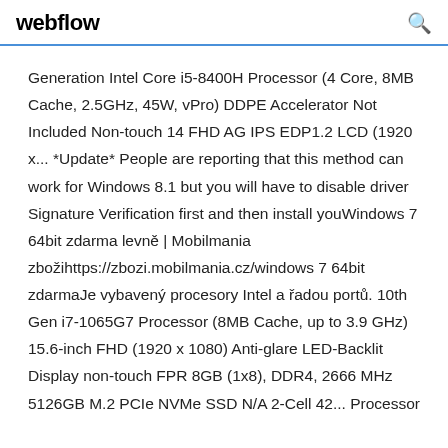webflow
Generation Intel Core i5-8400H Processor (4 Core, 8MB Cache, 2.5GHz, 45W, vPro) DDPE Accelerator Not Included Non-touch 14 FHD AG IPS EDP1.2 LCD (1920 x... *Update* People are reporting that this method can work for Windows 8.1 but you will have to disable driver Signature Verification first and then install youWindows 7 64bit zdarma levně | Mobilmania zbožihttps://zbozi.mobilmania.cz/windows 7 64bit zdarmaJe vybavený procesory Intel a řadou portů. 10th Gen i7-1065G7 Processor (8MB Cache, up to 3.9 GHz) 15.6-inch FHD (1920 x 1080) Anti-glare LED-Backlit Display non-touch FPR 8GB (1x8), DDR4, 2666 MHz 5126GB M.2 PCIe NVMe SSD N/A 2-Cell 42... Processor